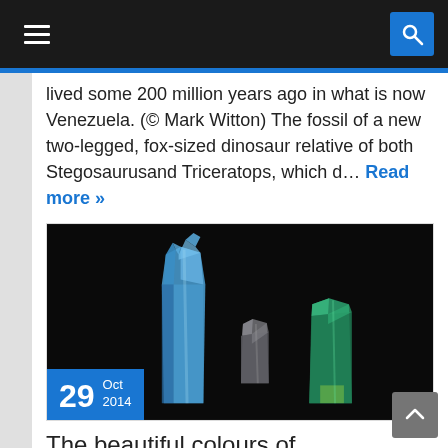Navigation bar with hamburger menu and search icon
lived some 200 million years ago in what is now Venezuela. (© Mark Witton) The fossil of a new two-legged, fox-sized dinosaur relative of both Stegosaurusand Triceratops, which d… Read more »
[Figure (photo): Three blue-green kyanite crystals on a black background. Date badge shows 29 Oct 2014.]
The beautiful colours of Harts Range Kyanite